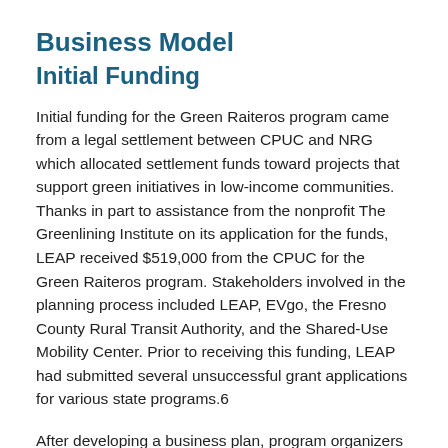Business Model
Initial Funding
Initial funding for the Green Raiteros program came from a legal settlement between CPUC and NRG which allocated settlement funds toward projects that support green initiatives in low-income communities. Thanks in part to assistance from the nonprofit The Greenlining Institute on its application for the funds, LEAP received $519,000 from the CPUC for the Green Raiteros program. Stakeholders involved in the planning process included LEAP, EVgo, the Fresno County Rural Transit Authority, and the Shared-Use Mobility Center. Prior to receiving this funding, LEAP had submitted several unsuccessful grant applications for various state programs.6
After developing a business plan, program organizers chose to purchase electric cars in order to save money